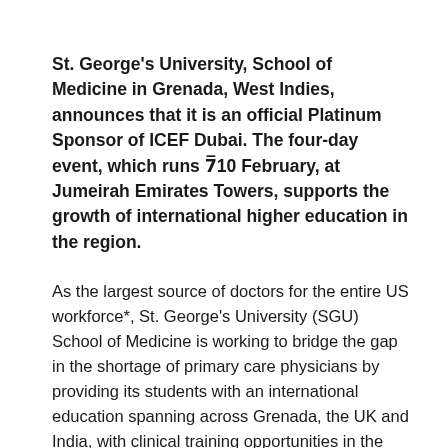St. George's University, School of Medicine in Grenada, West Indies, announces that it is an official Platinum Sponsor of ICEF Dubai. The four-day event, which runs 7–10 February, at Jumeirah Emirates Towers, supports the growth of international higher education in the region.
As the largest source of doctors for the entire US workforce*, St. George's University (SGU) School of Medicine is working to bridge the gap in the shortage of primary care physicians by providing its students with an international education spanning across Grenada, the UK and India, with clinical training opportunities in the US or UK. This quality clinical